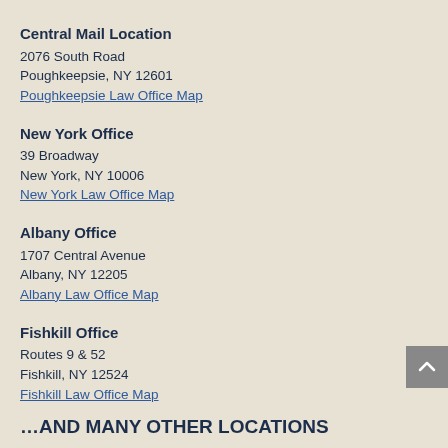Central Mail Location
2076 South Road
Poughkeepsie, NY 12601
Poughkeepsie Law Office Map
New York Office
39 Broadway
New York, NY 10006
New York Law Office Map
Albany Office
1707 Central Avenue
Albany, NY 12205
Albany Law Office Map
Fishkill Office
Routes 9 & 52
Fishkill, NY 12524
Fishkill Law Office Map
…AND MANY OTHER LOCATIONS